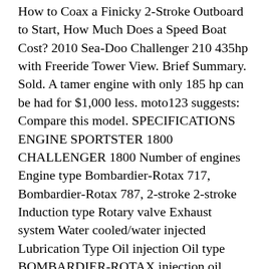How to Coax a Finicky 2-Stroke Outboard to Start, How Much Does a Speed Boat Cost? 2010 Sea-Doo Challenger 210 435hp with Freeride Tower View. Brief Summary. Sold. A tamer engine with only 185 hp can be had for $1,000 less. moto123 suggests: Compare this model. SPECIFICATIONS ENGINE SPORTSTER 1800 CHALLENGER 1800 Number of engines Engine type Bombardier-Rotax 717, Bombardier-Rotax 787, 2-stroke 2-stroke Induction type Rotary valve Exhaust system Water cooled/water injected Lubrication Type Oil injection Oil type BOMBARDIER-ROTAX injection oil Number of cylinders Displacement 718 cm³ (43.81 in3) 782 ... With as much onboard space as most 20-foot boats, you are sure to enjoy your time on the